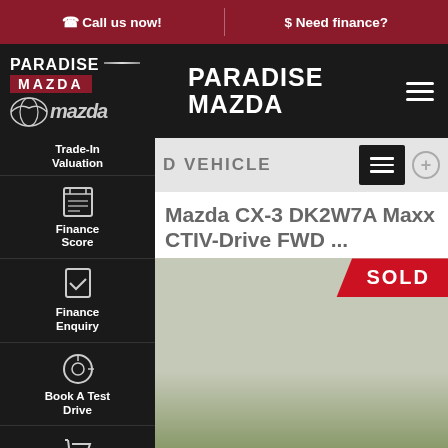Call us now! | Need finance?
[Figure (logo): Paradise Mazda logo with Mazda wordmark and wing logo]
PARADISE MAZDA
Trade-In Valuation
[Figure (screenshot): Screenshot of used vehicle listing page showing Mazda CX-3 DK2W7A Maxx CTIV-Drive FWD with SOLD badge, Contact Us bar, and Finance This Vehicle button]
Mazda CX-3 DK2W7A Maxx CTIV-Drive FWD ...
SOLD
Finance Score
Finance Enquiry
Book A Test Drive
Click To Buy
CONTACT US
FINANCE THIS VEHICLE